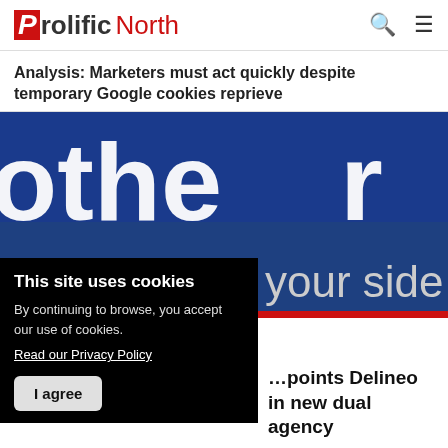Prolific North
Analysis: Marketers must act quickly despite temporary Google cookies reprieve
[Figure (photo): Brother brand image showing partial 'othe' text in white on blue background with 'your side' tagline below, with red bottom bar]
This site uses cookies
By continuing to browse, you accept our use of cookies.
Read our Privacy Policy
I agree
…points Delineo in new dual agency